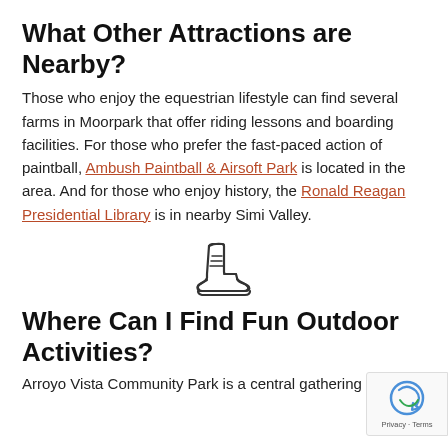What Other Attractions are Nearby?
Those who enjoy the equestrian lifestyle can find several farms in Moorpark that offer riding lessons and boarding facilities. For those who prefer the fast-paced action of paintball, Ambush Paintball & Airsoft Park is located in the area. And for those who enjoy history, the Ronald Reagan Presidential Library is in nearby Simi Valley.
[Figure (illustration): Icon of a hiking boot / work boot, outline style, centered on the page.]
Where Can I Find Fun Outdoor Activities?
Arroyo Vista Community Park is a central gathering place,